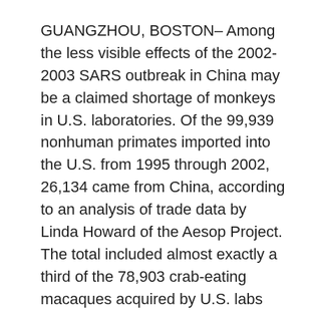GUANGZHOU, BOSTON– Among the less visible effects of the 2002-2003 SARS outbreak in China may be a claimed shortage of monkeys in U.S. laboratories. Of the 99,939 nonhuman primates imported into the U.S. from 1995 through 2002, 26,134 came from China, according to an analysis of trade data by Linda Howard of the Aesop Project. The total included almost exactly a third of the 78,903 crab-eating macaques acquired by U.S. labs and lab suppliers. The U.S. bought more monkeys from China than from any other nation. Next were Mauritius, furnishing 22,695 monkeys; Indonesia,